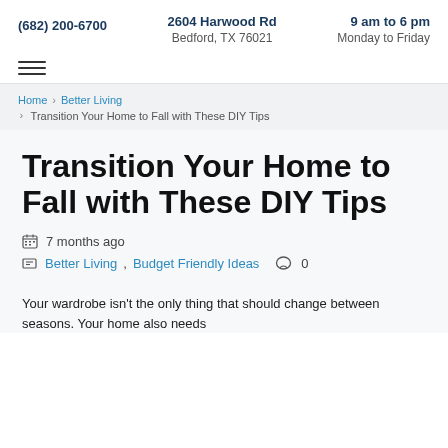(682) 200-6700 | 2604 Harwood Rd, Bedford, TX 76021 | 9 am to 6 pm, Monday to Friday
Home > Better Living > Transition Your Home to Fall with These DIY Tips
Transition Your Home to Fall with These DIY Tips
7 months ago
Better Living, Budget Friendly Ideas  0
Your wardrobe isn't the only thing that should change between seasons. Your home also needs